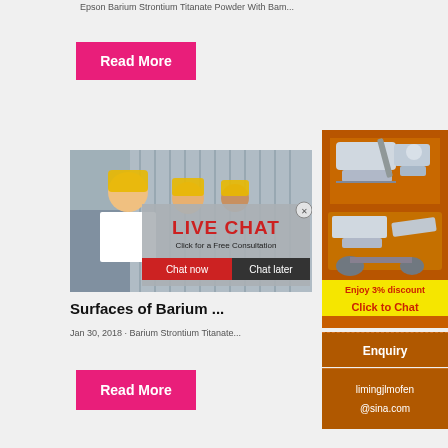Epson Barium Strontium Titanate Powder With Bam...
Read More
[Figure (photo): Workers wearing yellow hard hats in an industrial setting, with a live chat popup overlay showing 'LIVE CHAT - Click for a Free Consultation' with Chat now and Chat later buttons]
Surfaces of Barium ...
Jan 30, 2018 · Barium Strontium Titanate...
Read More
[Figure (photo): Orange sidebar advertisement showing industrial crushing/mining machinery with 'Enjoy 3% discount' and 'Click to Chat' in yellow and red text]
Enquiry
limingjlmofen@sina.com